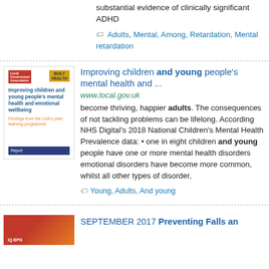substantial evidence of clinically significant ADHD
Adults, Mental, Among, Retardation, Mental retardation
Improving children and young people's mental health and ...
www.local.gov.uk
become thriving, happier adults. The consequences of not tackling problems can be lifelong. According NHS Digital's 2018 National Children's Mental Health Prevalence data: • one in eight children and young people have one or more mental health disorders emotional disorders have become more common, whilst all other types of disorder,
Young, Adults, And young
SEPTEMBER 2017 Preventing Falls an